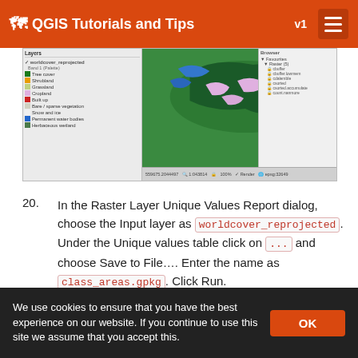QGIS Tutorials and Tips v1
[Figure (screenshot): QGIS application screenshot showing a reprojected worldcover raster layer with a colorful legend (Tree cover, Shrubland, Grassland, Cropland, Built up, Bare/sparse vegetation, Snow and ice, Permanent water bodies, Herbaceous wetland) displayed on a map, with a layers panel on the left and a browser panel on the right.]
20. In the Raster Layer Unique Values Report dialog, choose the Input layer as worldcover_reprojected. Under the Unique values table click on ... and choose Save to File.... Enter the name as class_areas.gpkg. Click Run.
[Figure (screenshot): Raster Layer Unique Values Report dialog box showing Parameters and Log tabs, with an Input layer field highlighted in red, and a 'Raster layer unique' label on the right side.]
We use cookies to ensure that you have the best experience on our website. If you continue to use this site we assume that you accept this.